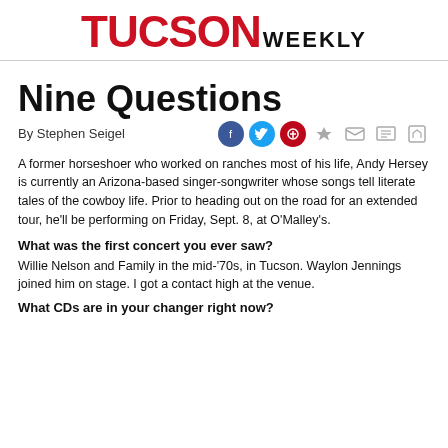TUCSON WEEKLY
Nine Questions
By Stephen Seigel
A former horseshoer who worked on ranches most of his life, Andy Hersey is currently an Arizona-based singer-songwriter whose songs tell literate tales of the cowboy life. Prior to heading out on the road for an extended tour, he'll be performing on Friday, Sept. 8, at O'Malley's.
What was the first concert you ever saw?
Willie Nelson and Family in the mid-'70s, in Tucson. Waylon Jennings joined him on stage. I got a contact high at the venue.
What CDs are in your changer right now?